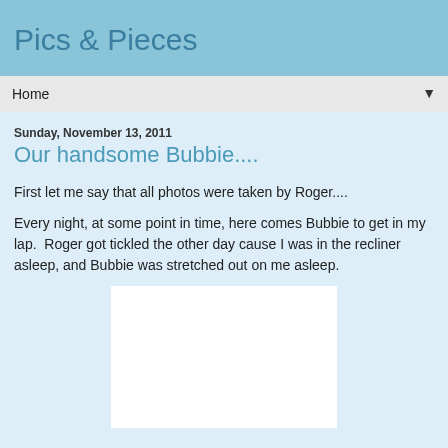Pics & Pieces
Home ▼
Sunday, November 13, 2011
Our handsome Bubbie....
First let me say that all photos were taken by Roger....
Every night, at some point in time, here comes Bubbie to get in my lap.  Roger got tickled the other day cause I was in the recliner asleep, and Bubbie was stretched out on me asleep.
[Figure (photo): White/blank photo placeholder area]